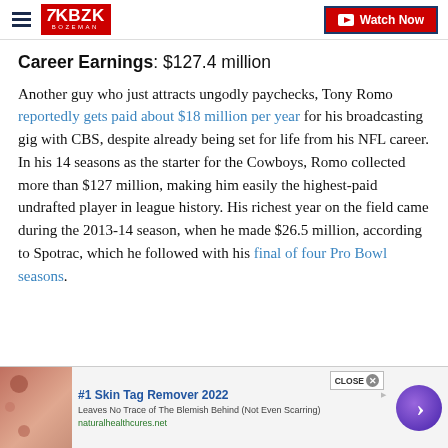KBZK BOZEMAN | Watch Now
Career Earnings: $127.4 million
Another guy who just attracts ungodly paychecks, Tony Romo reportedly gets paid about $18 million per year for his broadcasting gig with CBS, despite already being set for life from his NFL career. In his 14 seasons as the starter for the Cowboys, Romo collected more than $127 million, making him easily the highest-paid undrafted player in league history. His richest year on the field came during the 2013-14 season, when he made $26.5 million, according to Spotrac, which he followed with his final of four Pro Bowl seasons.
[Figure (screenshot): Advertisement banner: #1 Skin Tag Remover 2022 — Leaves No Trace of The Blemish Behind (Not Even Scarring). naturalhealthcures.net. Skin close-up image on left, purple arrow navigation button on right.]